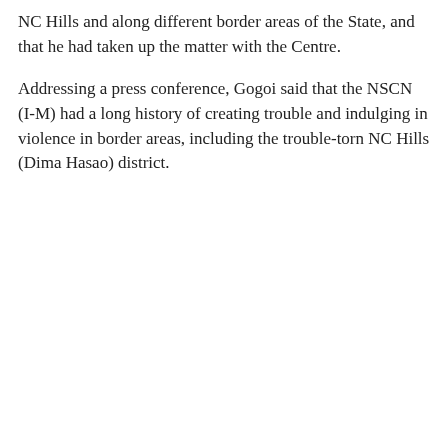NC Hills and along different border areas of the State, and that he had taken up the matter with the Centre.
Addressing a press conference, Gogoi said that the NSCN (I-M) had a long history of creating trouble and indulging in violence in border areas, including the trouble-torn NC Hills (Dima Hasao) district.